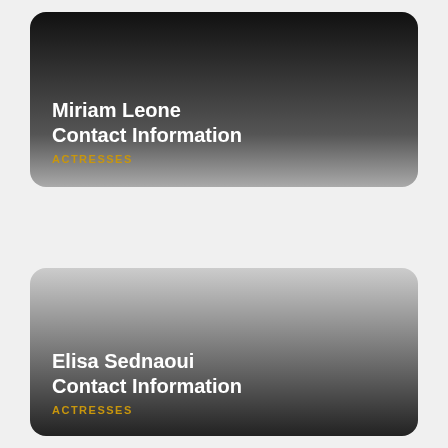Miriam Leone Contact Information
ACTRESSES
Elisa Sednaoui Contact Information
ACTRESSES